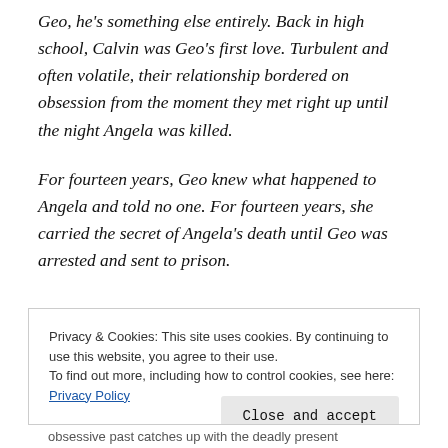Geo, he's something else entirely. Back in high school, Calvin was Geo's first love. Turbulent and often volatile, their relationship bordered on obsession from the moment they met right up until the night Angela was killed.
For fourteen years, Geo knew what happened to Angela and told no one. For fourteen years, she carried the secret of Angela's death until Geo was arrested and sent to prison.
Privacy & Cookies: This site uses cookies. By continuing to use this website, you agree to their use.
To find out more, including how to control cookies, see here: Privacy Policy
obsessive past catches up with the deadly present